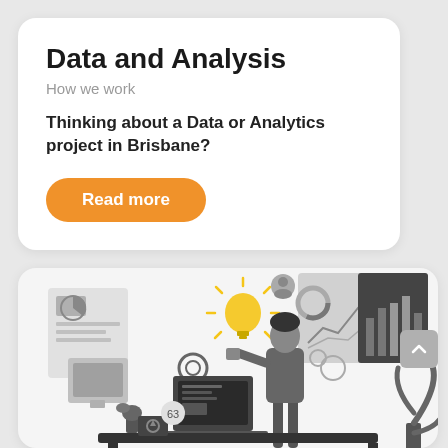Data and Analysis
How we work
Thinking about a Data or Analytics project in Brisbane?
Read more
[Figure (illustration): Isometric illustration of a person standing at a desk with a laptop, charts, dashboards, and a glowing lightbulb, with analytics icons and graphs in the background. The illustration is in grayscale with yellow/orange accent on the lightbulb.]